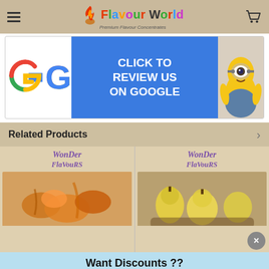Flavour World - Premium Flavour Concentrates
[Figure (infographic): Google 'Click to Review Us on Google' banner with Google G logo in red, blue, yellow, green on left, blue background with white text in center, and Minion character on right]
Related Products
[Figure (illustration): Wonder Flavours logo (purple cursive/script text) above a photo of caramel/orange candy product]
[Figure (illustration): Wonder Flavours logo (purple cursive/script text) above a photo of pears/yellow fruit product]
Want Discounts ??
SUBSCRIBE